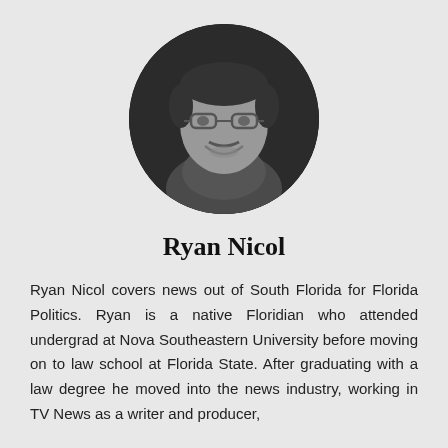[Figure (photo): Black and white circular headshot of Ryan Nicol, a man with glasses and short hair, smiling, wearing a collared shirt.]
Ryan Nicol
Ryan Nicol covers news out of South Florida for Florida Politics. Ryan is a native Floridian who attended undergrad at Nova Southeastern University before moving on to law school at Florida State. After graduating with a law degree he moved into the news industry, working in TV News as a writer and producer,